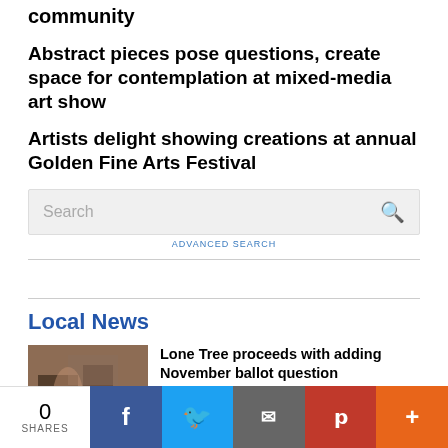community
Abstract pieces pose questions, create space for contemplation at mixed-media art show
Artists delight showing creations at annual Golden Fine Arts Festival
Search  ADVANCED SEARCH
Local News
Lone Tree proceeds with adding November ballot question
Lone Tree residents can expect to see two similar